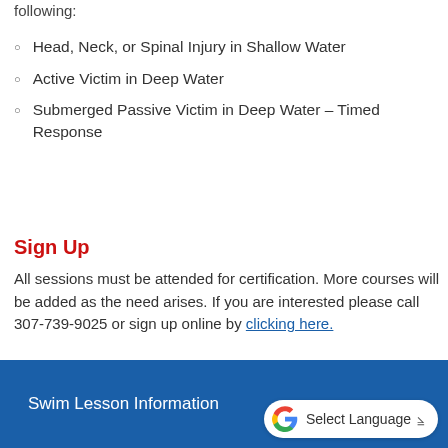following:
Head, Neck, or Spinal Injury in Shallow Water
Active Victim in Deep Water
Submerged Passive Victim in Deep Water – Timed Response
Sign Up
All sessions must be attended for certification. More courses will be added as the need arises. If you are interested please call 307-739-9025 or sign up online by clicking here.
Swim Lesson Information